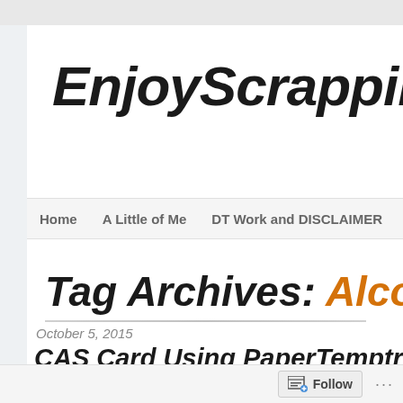EnjoyScrappin2
Home   A Little of Me   DT Work and DISCLAIMER   SPO
Tag Archives: Alcohol Marker
October 5, 2015
CAS Card Using PaperTemptress's Card &
[Figure (photo): Partial view of a card or scrapbooking project image, dark framed]
Follow ...